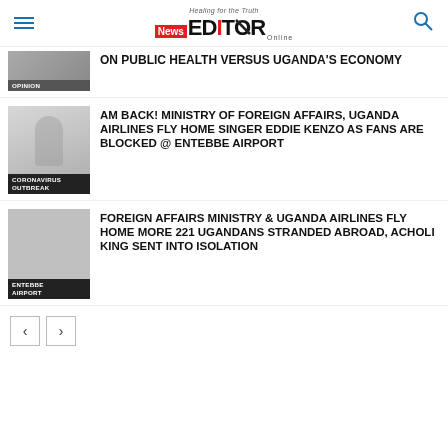News EDITOR Online — Healing for the Truth
ON PUBLIC HEALTH VERSUS UGANDA'S ECONOMY
AM BACK! MINISTRY OF FOREIGN AFFAIRS, UGANDA AIRLINES FLY HOME SINGER EDDIE KENZO AS FANS ARE BLOCKED @ ENTEBBE AIRPORT
FOREIGN AFFAIRS MINISTRY & UGANDA AIRLINES FLY HOME MORE 221 UGANDANS STRANDED ABROAD, ACHOLI KING SENT INTO ISOLATION